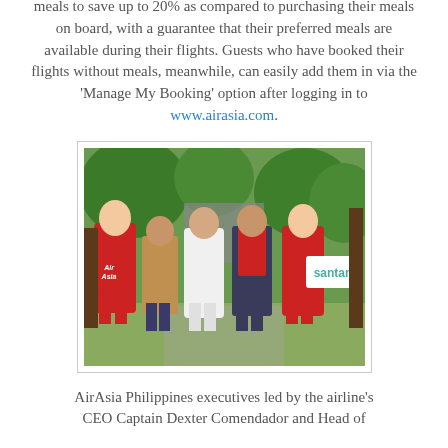meals to save up to 20% as compared to purchasing their meals on board, with a guarantee that their preferred meals are available during their flights. Guests who have booked their flights without meals, meanwhile, can easily add them in via the 'Manage My Booking' option after logging in to www.airasia.com.
[Figure (photo): Group photo of AirAsia Philippines executives and staff outdoors. Two women in red AirAsia uniforms flank three people in the center. One woman holds a circular AirAsia sign, another holds a Santan sign. Trees and greenery in background.]
AirAsia Philippines executives led by the airline's CEO Captain Dexter Comendador and Head of